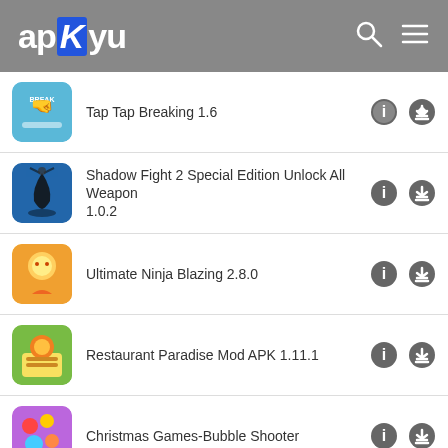apKyu
Tap Tap Breaking 1.6
Shadow Fight 2 Special Edition Unlock All Weapon 1.0.2
Ultimate Ninja Blazing 2.8.0
Restaurant Paradise Mod APK 1.11.1
Christmas Games-Bubble Shooter
DU Recorder - Screen Recorder, Video Recorder 8.0
SIKS-Dataku 1.4.3